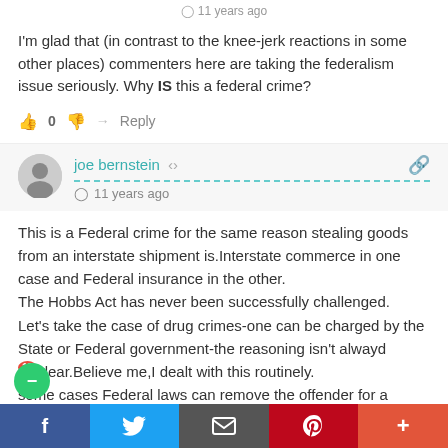11 years ago
I'm glad that (in contrast to the knee-jerk reactions in some other places) commenters here are taking the federalism issue seriously. Why IS this a federal crime?
0  Reply
joe bernstein  11 years ago
This is a Federal crime for the same reason stealing goods from an interstate shipment is.Interstate commerce in one case and Federal insurance in the other.
The Hobbs Act has never been successfully challenged.
Let's take the case of drug crimes-one can be charged by the State or Federal government-the reasoning isn't alwayd clear.Believe me,I dealt with this routinely.
some cases Federal laws can remove the offender for a
f  t  [email]  p  +